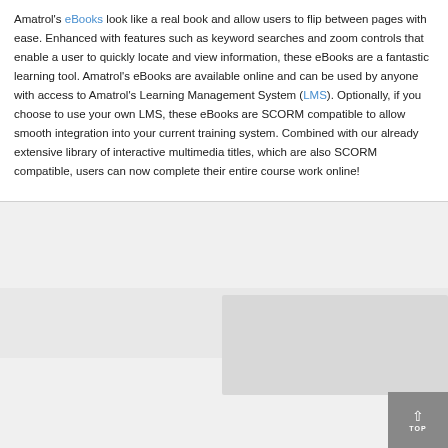Amatrol's eBooks look like a real book and allow users to flip between pages with ease. Enhanced with features such as keyword searches and zoom controls that enable a user to quickly locate and view information, these eBooks are a fantastic learning tool. Amatrol's eBooks are available online and can be used by anyone with access to Amatrol's Learning Management System (LMS). Optionally, if you choose to use your own LMS, these eBooks are SCORM compatible to allow smooth integration into your current training system. Combined with our already extensive library of interactive multimedia titles, which are also SCORM compatible, users can now complete their entire course work online!